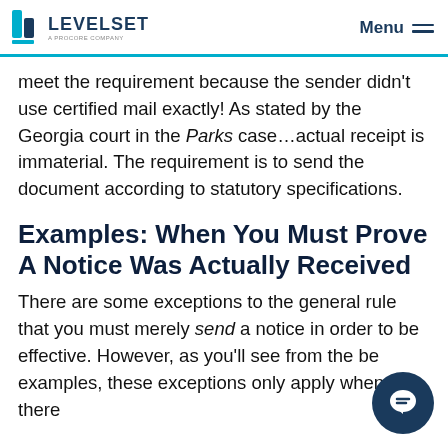LEVELSET — A PROCORE COMPANY | Menu
meet the requirement because the sender didn't use certified mail exactly!  As stated by the Georgia court in the Parks case…actual receipt is immaterial.  The requirement is to send the document according to statutory specifications.
Examples: When You Must Prove A Notice Was Actually Received
There are some exceptions to the general rule that you must merely send a notice in order to be effective. However, as you'll see from the be examples, these exceptions only apply when there